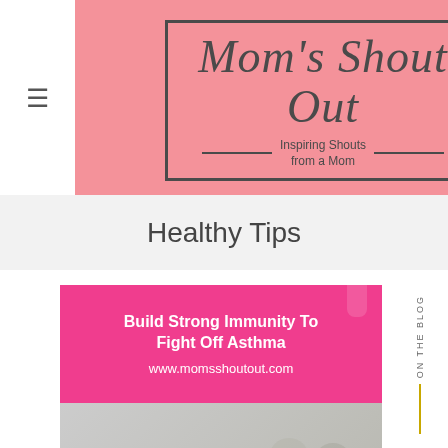Mom's Shout Out — Inspiring Shouts from a Mom
Healthy Tips
[Figure (photo): Article card thumbnail for 'Build Strong Immunity To Fight Off Asthma' with pink background showing title text and www.momsshoutout.com URL, below which is a photo of two women exercising outdoors with an Organique California product bottle visible]
ON THE BLOG